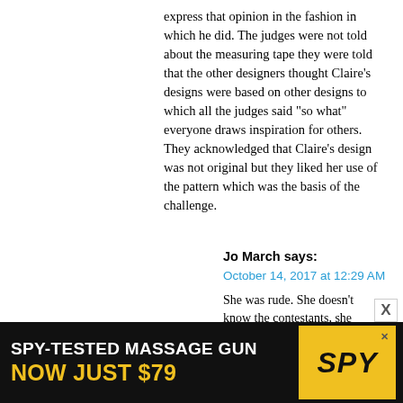express that opinion in the fashion in which he did. The judges were not told about the measuring tape they were told that the other designers thought Claire’s designs were based on other designs to which all the judges said “so what” everyone draws inspiration for others. They acknowledged that Claire's design was not original but they liked her use of the pattern which was the basis of the challenge.
Reply
Jo March says:
October 14, 2017 at 12:29 AM
She was rude. She doesn't know the contestants, she doesn't kno the show and she wears fashion
[Figure (other): Advertisement banner: SPY-TESTED MASSAGE GUN NOW JUST $79 with SPY logo on yellow background]